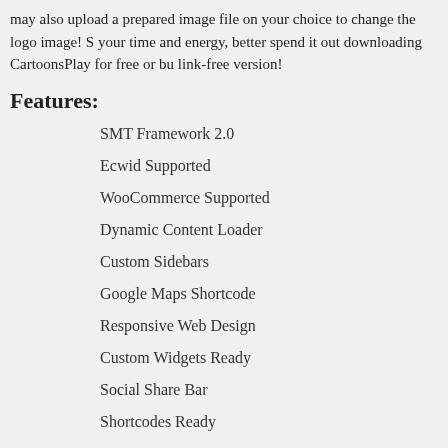may also upload a prepared image file on your choice to change the logo image! S your time and energy, better spend it out downloading CartoonsPlay for free or bu link-free version!
Features:
SMT Framework 2.0
Ecwid Supported
WooCommerce Supported
Dynamic Content Loader
Custom Sidebars
Google Maps Shortcode
Responsive Web Design
Custom Widgets Ready
Social Share Bar
Shortcodes Ready
Contacts Page